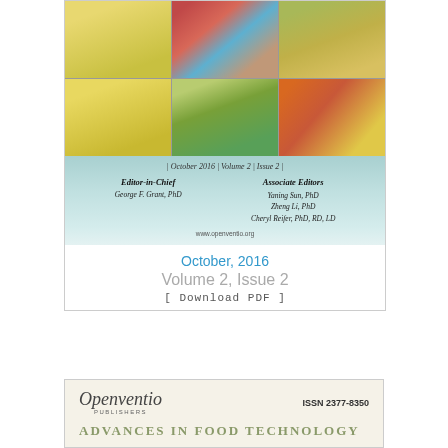[Figure (photo): Journal cover showing food collage with vegetables, fruits, strawberries, corn, broccoli, carrots, and potatoes in a 3x2 grid]
| October 2016 | Volume 2 | Issue 2 |
Editor-in-Chief
George F. Grant, PhD
Associate Editors
Yaning Sun, PhD
Zheng Li, PhD
Cheryl Reifer, PhD, RD, LD
www.openventio.org
October, 2016
Volume 2, Issue 2
[ Download PDF ]
[Figure (logo): Openventio Publishers logo with italic script font]
ISSN 2377-8350
ADVANCES IN FOOD TECHNOLOGY